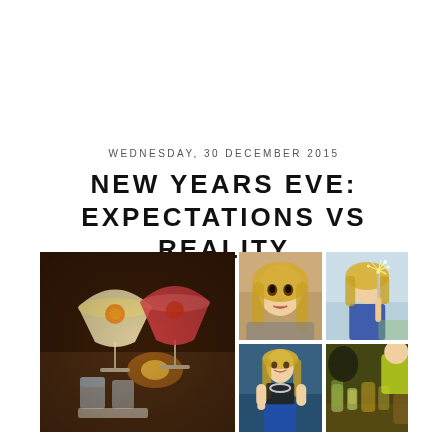WEDNESDAY, 30 DECEMBER 2015
NEW YEARS EVE: EXPECTATIONS VS REALITY
[Figure (photo): Collage of five photos: large cocktail photo on the left showing two passionfruit martinis and two small glasses on a dark bar surface with a candle; top-centre close-up selfie of a blonde woman; top-right photo of a woman holding sparklers; bottom-centre photo of a smiling blonde woman in a party outfit; bottom-right photo of a restaurant/bar table scene with drinks.]